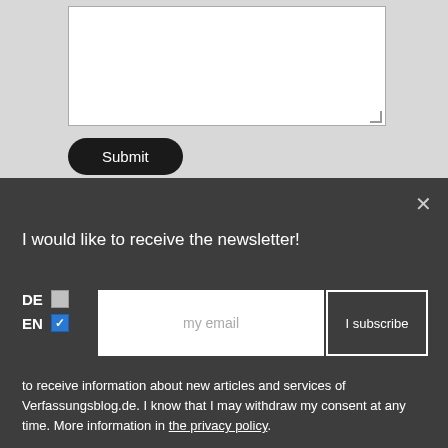[Figure (screenshot): A web form section with a large textarea input box and a black rounded 'Submit' button on a light gray background.]
I would like to receive the newsletter!
DE  EN  my email  I subscribe
to receive information about new articles and services of Verfassungsblog.de. I know that I may withdraw my consent at any time. More information in the privacy policy.